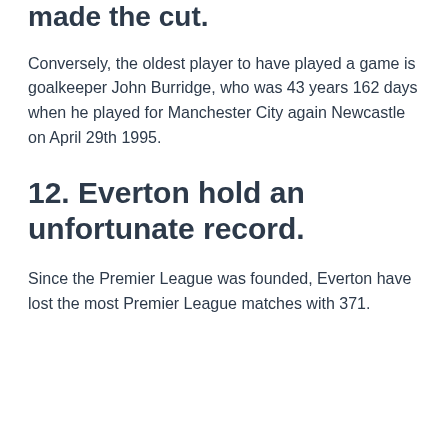made the cut.
Conversely, the oldest player to have played a game is goalkeeper John Burridge, who was 43 years 162 days when he played for Manchester City again Newcastle on April 29th 1995.
12. Everton hold an unfortunate record.
Since the Premier League was founded, Everton have lost the most Premier League matches with 371.